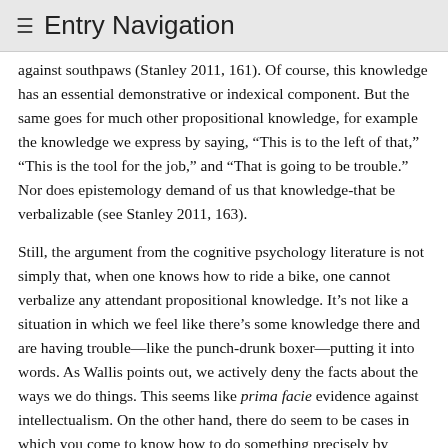≡ Entry Navigation
against southpaws (Stanley 2011, 161). Of course, this knowledge has an essential demonstrative or indexical component. But the same goes for much other propositional knowledge, for example the knowledge we express by saying, "This is to the left of that," "This is the tool for the job," and "That is going to be trouble." Nor does epistemology demand of us that knowledge-that be verbalizable (see Stanley 2011, 163).
Still, the argument from the cognitive psychology literature is not simply that, when one knows how to ride a bike, one cannot verbalize any attendant propositional knowledge. It's not like a situation in which we feel like there's some knowledge there and are having trouble—like the punch-drunk boxer—putting it into words. As Wallis points out, we actively deny the facts about the ways we do things. This seems like prima facie evidence against intellectualism. On the other hand, there do seem to be cases in which you come to know how to do something precisely by consulting a manual and learning,